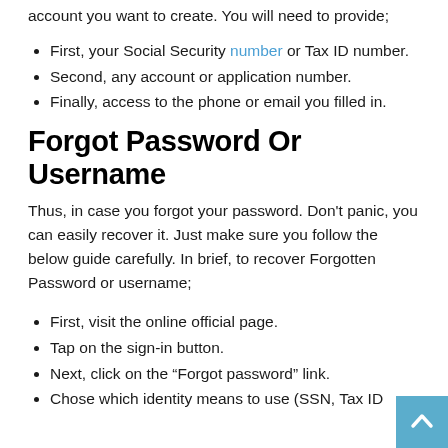account you want to create. You will need to provide;
First, your Social Security number or Tax ID number.
Second, any account or application number.
Finally, access to the phone or email you filled in.
Forgot Password Or Username
Thus, in case you forgot your password. Don't panic, you can easily recover it. Just make sure you follow the below guide carefully. In brief, to recover Forgotten Password or username;
First, visit the online official page.
Tap on the sign-in button.
Next, click on the “Forgot password” link.
Chose which identity means to use (SSN, Tax ID